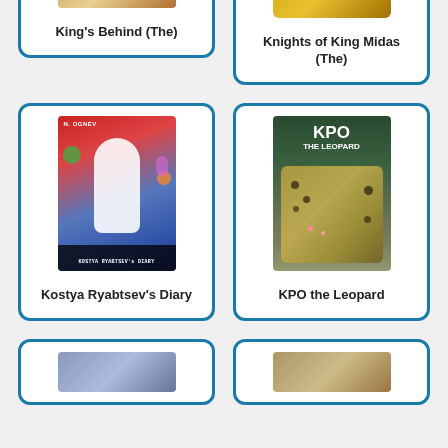[Figure (illustration): Book cover for King's Behind (The) - partially visible at top]
King's Behind (The)
[Figure (illustration): Book cover for Knights of King Midas (The) - partially visible at top, gold colored with figure]
Knights of King Midas (The)
[Figure (illustration): Book cover for Kostya Ryabtsev's Diary - showing boy in cap with colorful background]
Kostya Ryabtsev's Diary
[Figure (illustration): Book cover for KPO the Leopard - showing a leopard]
KPO the Leopard